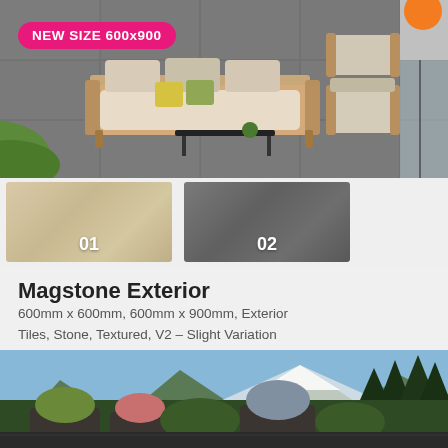[Figure (photo): Aerial/overhead view of an outdoor patio/terrace with gray stone tiles, a wooden sofa with beige cushions and yellow/green throw pillows, a black coffee table, two wooden armchairs, and green grass visible at left edge. Pink badge reads NEW SIZE 600x900, orange circle at top right.]
[Figure (photo): Two tile color swatches: swatch 01 is a light beige/cream stone texture, swatch 02 is a medium-dark gray stone texture.]
Magstone Exterior
600mm x 600mm, 600mm x 900mm, Exterior Tiles, Stone, Textured, V2 – Slight Variation
[Figure (photo): Outdoor terrace with dark stone tiles, large rectangular planter boxes with ornamental grasses and flowers, topiary hedges, mountain and forest backdrop with snow-capped peaks and blue sky. Orange badge '1 Size' at left, orange circle 'V2' at right.]